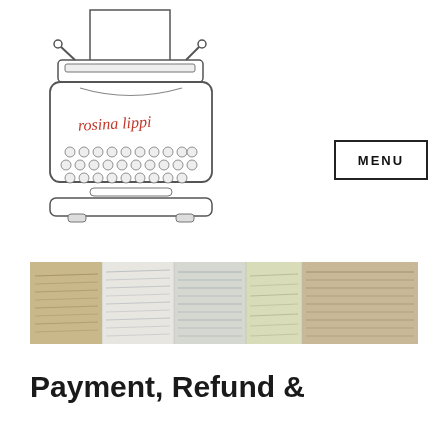[Figure (logo): Rosina Lippi author logo: line drawing of a vintage typewriter with 'rosina lippi' written in red cursive script on the typewriter body]
[Figure (other): Button/link labeled MENU with a rectangular border]
[Figure (photo): A wide banner image showing a collage of old handwritten manuscript pages in various colors (tan, white, grey, yellow-green, beige) arranged side by side]
Payment, Refund &